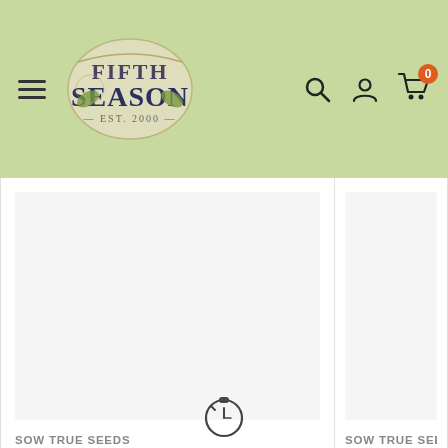Fifth Season — Est. 2000 — navigation header with search, account, and cart icons
SOW TRUE SEEDS
Sweet William Single Mix Dianthus Seeds
$2.95
Only 1 unit left
SOW TRUE SEEDS
Partial Shade Flow…
$2.95
Only 1 unit left
[Figure (other): Timer/stopwatch icon at bottom center of page]